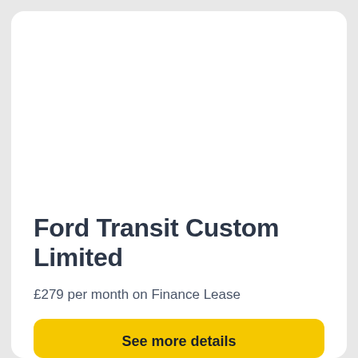[Figure (photo): Vehicle image area - white/blank space representing a car image placeholder for Ford Transit Custom Limited]
Ford Transit Custom Limited
£279 per month on Finance Lease
See more details